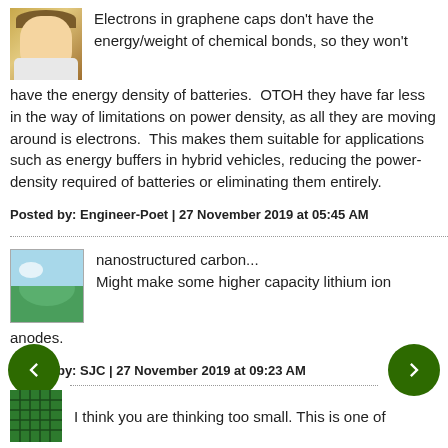Electrons in graphene caps don't have the energy/weight of chemical bonds, so they won't have the energy density of batteries.  OTOH they have far less in the way of limitations on power density, as all they are moving around is electrons.  This makes them suitable for applications such as energy buffers in hybrid vehicles, reducing the power-density required of batteries or eliminating them entirely.
Posted by: Engineer-Poet | 27 November 2019 at 05:45 AM
nanostructured carbon...
Might make some higher capacity lithium ion anodes.
Posted by: SJC | 27 November 2019 at 09:23 AM
I think you are thinking too small. This is one of